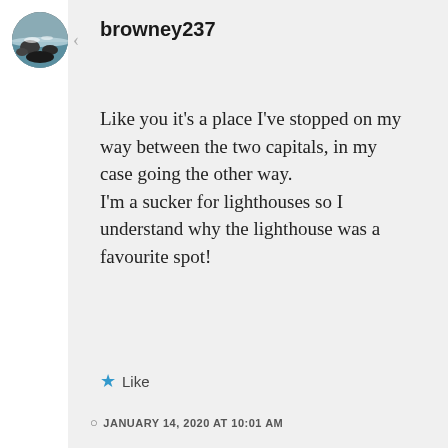[Figure (photo): Circular avatar photo showing a coastal scene with rocks and ocean waves]
browney237
Like you it's a place I've stopped on my way between the two capitals, in my case going the other way.
I'm a sucker for lighthouses so I understand why the lighthouse was a favourite spot!
Like
JANUARY 14, 2020 AT 10:01 AM